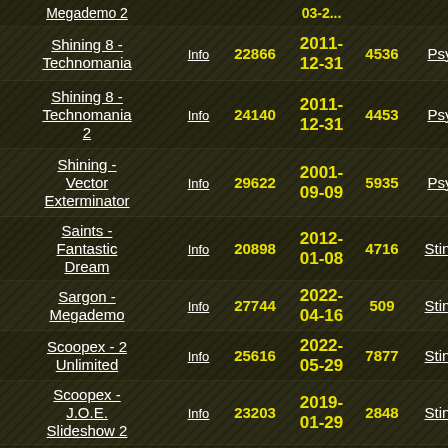| Name | Info | ID | Date | Num | Author | Ref |
| --- | --- | --- | --- | --- | --- | --- |
| Megademo 2 | Info | ... | 03-2... |  |  |  |
| Shining 8 - Technomania | Info | 22866 | 2011-12-31 | 4536 | Psygore | 759 |
| Shining 8 - Technomania 2 | Info | 24140 | 2011-12-31 | 4453 | Psygore | 806 |
| Shining - Vector Exterminator | Info | 29622 | 2001-09-09 | 5935 | Psygore | 104 |
| Saints - Fantastic Dream | Info | 20898 | 2012-01-08 | 4716 | StingRay | 504 |
| Sargon - Megademo | Info | 27744 | 2022-04-16 | 509 | StingRay | 234 |
| Scoopex - 2 Unlimited | Info | 25616 | 2022-05-29 | 7877 | StingRay | 946 |
| Scoopex - J.O.E. Slideshow 2 | Info | 23203 | 2019-01-29 | 2848 | StingRay | 103 |
| Scrapers - SCR Musax 2 | Info | 26039 | 2014-09-23 | 4332 | StingRay | 707 |